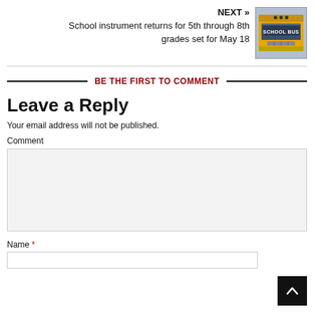NEXT »
School instrument returns for 5th through 8th grades set for May 18
[Figure (photo): Photo of a yellow school bus front view with 'SCHOOL BUS' text]
BE THE FIRST TO COMMENT
Leave a Reply
Your email address will not be published.
Comment
Name *